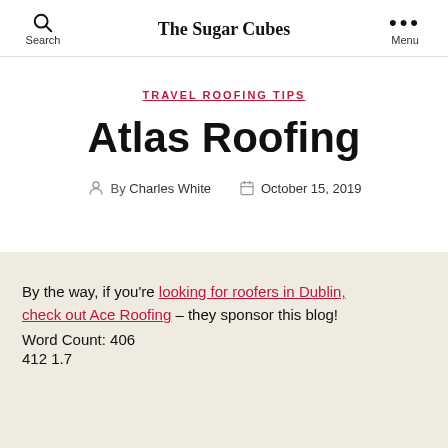The Sugar Cubes
TRAVEL ROOFING TIPS
Atlas Roofing
By Charles White  October 15, 2019
By the way, if you're looking for roofers in Dublin, check out Ace Roofing – they sponsor this blog!
Word Count: 406
412 1.7